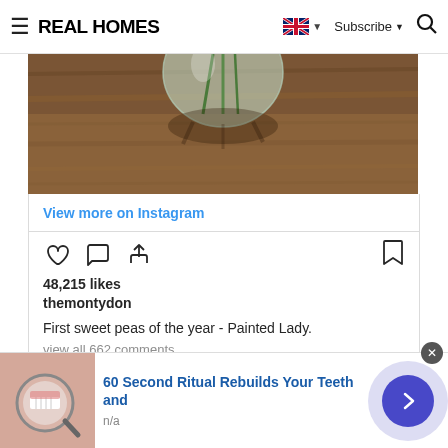REAL HOMES — Subscribe
[Figure (photo): Photo of a glass vase with green stems on a wooden table surface, bottom portion of image visible]
View more on Instagram
[Figure (infographic): Instagram action icons: heart (like), speech bubble (comment), share arrow, and bookmark]
48,215 likes
themontydon
First sweet peas of the year - Painted Lady.
view all 662 comments
[Figure (photo): Advertisement showing a person with a magnifying glass over teeth, promoting a 60 Second Ritual Rebuilds Your Teeth and product. n/a]
60 Second Ritual Rebuilds Your Teeth and
n/a